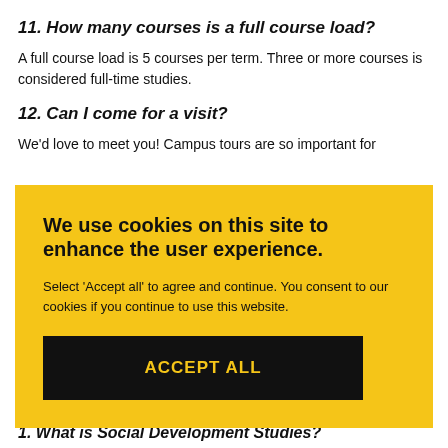11. How many courses is a full course load?
A full course load is 5 courses per term. Three or more courses is considered full-time studies.
12. Can I come for a visit?
We'd love to meet you! Campus tours are so important for
[Figure (screenshot): Cookie consent overlay with yellow background. Title: 'We use cookies on this site to enhance the user experience.' Body text: 'Select Accept all to agree and continue. You consent to our cookies if you continue to use this website.' Black button with yellow text: 'ACCEPT ALL']
1. What is Social Development Studies?